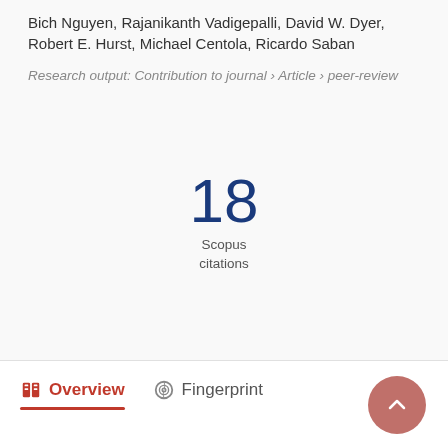Bich Nguyen, Rajanikanth Vadigepalli, David W. Dyer, Robert E. Hurst, Michael Centola, Ricardo Saban
Research output: Contribution to journal › Article › peer-review
18
Scopus
citations
Overview   Fingerprint